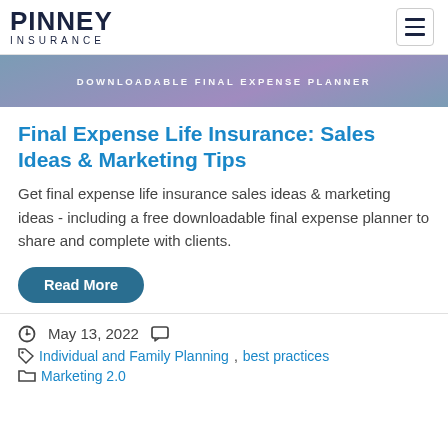PINNEY INSURANCE
[Figure (photo): Hero image with text DOWNLOADABLE FINAL EXPENSE PLANNER, flowers in background]
Final Expense Life Insurance: Sales Ideas & Marketing Tips
Get final expense life insurance sales ideas & marketing ideas - including a free downloadable final expense planner to share and complete with clients.
Read More
May 13, 2022
Individual and Family Planning, best practices
Marketing 2.0